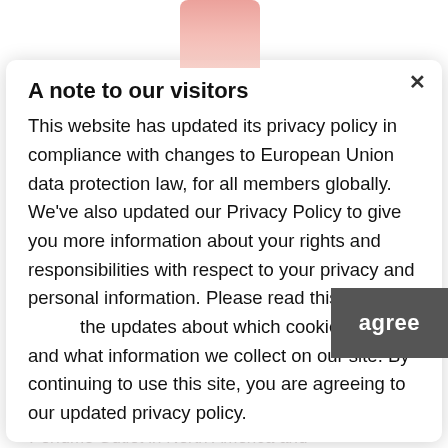A note to our visitors
This website has updated its privacy policy in compliance with changes to European Union data protection law, for all members globally. We've also updated our Privacy Policy to give you more information about your rights and responsibilities with respect to your privacy and personal information. Please read this to review the updates about which cookies we use and what information we collect on our site. By continuing to use this site, you are agreeing to our updated privacy policy.